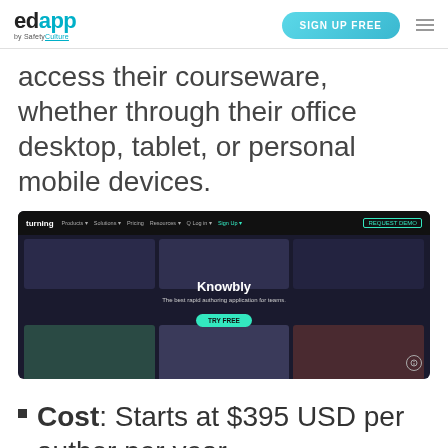edapp by SafetyCulture | SIGN UP FREE
access their courseware, whether through their office desktop, tablet, or personal mobile devices.
[Figure (screenshot): Screenshot of the Knowbly website/app interface showing a dark-themed navigation bar with the Turning logo, and a central panel with 'Knowbly' branding text, subtitle 'The best rapid authoring application for teams.', and a teal 'Try Free' button, with course card thumbnails in the background.]
Cost: Starts at $395 USD per author per year